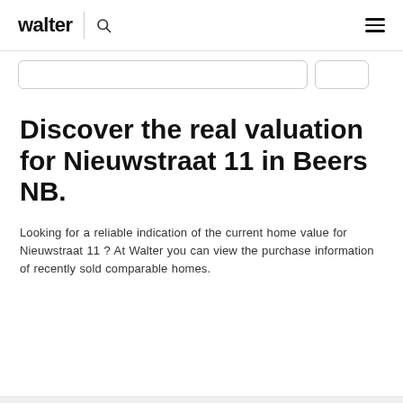walter
Discover the real valuation for Nieuwstraat 11 in Beers NB.
Looking for a reliable indication of the current home value for Nieuwstraat 11 ? At Walter you can view the purchase information of recently sold comparable homes.